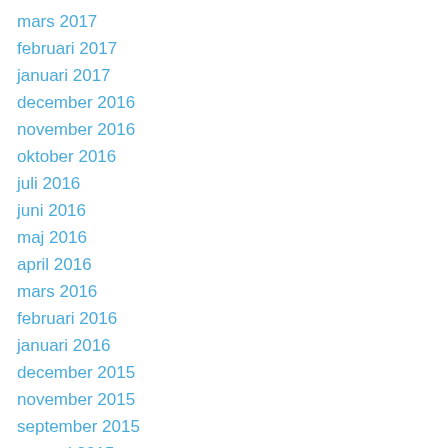mars 2017
februari 2017
januari 2017
december 2016
november 2016
oktober 2016
juli 2016
juni 2016
maj 2016
april 2016
mars 2016
februari 2016
januari 2016
december 2015
november 2015
september 2015
augusti 2015
juli 2015
juni 2015
maj 2015